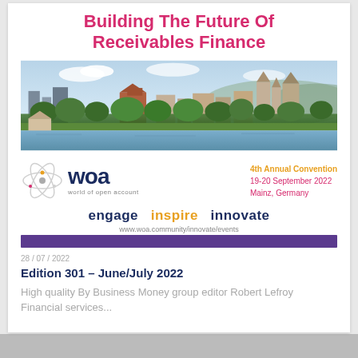Building The Future Of Receivables Finance
[Figure (photo): Aerial/skyline photo of Mainz, Germany showing historic cathedral and riverside cityscape with green trees and river in foreground]
[Figure (logo): WOA (World of Open Account) logo with atom graphic and event details: 4th Annual Convention, 19-20 September 2022, Mainz, Germany. Tagline: engage inspire innovate. URL: www.woa.community/innovate/events]
28 / 07 / 2022
Edition 301 – June/July 2022
High quality By Business Money group editor Robert Lefroy Financial services...